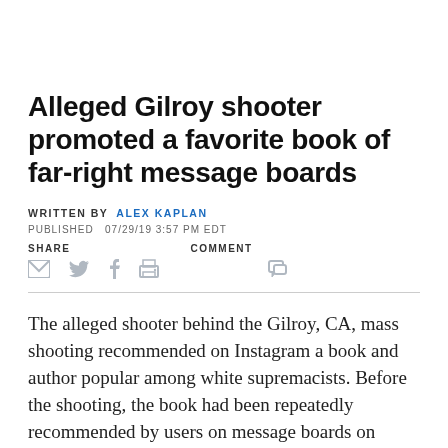Alleged Gilroy shooter promoted a favorite book of far-right message boards
WRITTEN BY  ALEX KAPLAN
PUBLISHED  07/29/19 3:57 PM EDT
SHARE   COMMENT
The alleged shooter behind the Gilroy, CA, mass shooting recommended on Instagram a book and author popular among white supremacists. Before the shooting, the book had been repeatedly recommended by users on message boards on 4chan and 8chan — sites known for being white